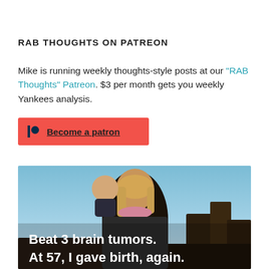RAB THOUGHTS ON PATREON
Mike is running weekly thoughts-style posts at our "RAB Thoughts" Patreon. $3 per month gets you weekly Yankees analysis.
[Figure (other): Red Patreon button with Patreon logo icon and 'Become a patron' link text]
[Figure (photo): Photo of a middle-aged woman holding a baby on her shoulder outdoors with text overlay 'Beat 3 brain tumors. At 57, I gave birth, again.']